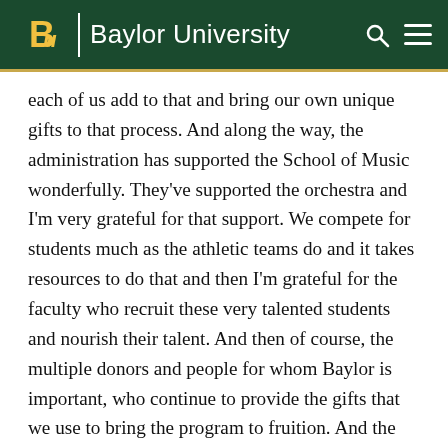Baylor University
each of us add to that and bring our own unique gifts to that process. And along the way, the administration has supported the School of Music wonderfully. They've supported the orchestra and I'm very grateful for that support. We compete for students much as the athletic teams do and it takes resources to do that and then I'm grateful for the faculty who recruit these very talented students and nourish their talent. And then of course, the multiple donors and people for whom Baylor is important, who continue to provide the gifts that we use to bring the program to fruition. And the generosity of these people is just very humbling and appreciated. And then there's the students who I can't say enough about. Talented, hardworking, conscientious, affirming of one another, affirming of their faculty and with this attitude...